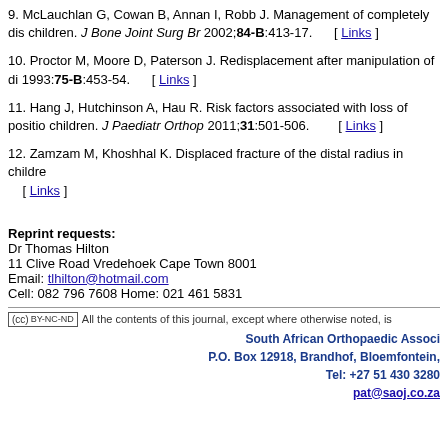9. McLauchlan G, Cowan B, Annan I, Robb J. Management of completely dis children. J Bone Joint Surg Br 2002;84-B:413-17. [ Links ]
10. Proctor M, Moore D, Paterson J. Redisplacement after manipulation of di 1993:75-B:453-54. [ Links ]
11. Hang J, Hutchinson A, Hau R. Risk factors associated with loss of positio children. J Paediatr Orthop 2011;31:501-506. [ Links ]
12. Zamzam M, Khoshhal K. Displaced fracture of the distal radius in childre [ Links ]
Reprint requests:
Dr Thomas Hilton
11 Clive Road Vredehoek Cape Town 8001
Email: tlhilton@hotmail.com
Cell: 082 796 7608 Home: 021 461 5831
All the contents of this journal, except where otherwise noted, is
South African Orthopaedic Associ P.O. Box 12918, Brandhof, Bloemfontein, Tel: +27 51 430 3280 pat@saoj.co.za